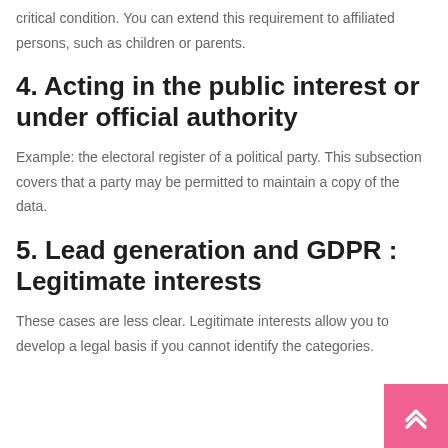critical condition. You can extend this requirement to affiliated persons, such as children or parents.
4. Acting in the public interest or under official authority
Example: the electoral register of a political party. This subsection covers that a party may be permitted to maintain a copy of the data.
5. Lead generation and GDPR : Legitimate interests
These cases are less clear. Legitimate interests allow you to develop a legal basis if you cannot identify the categories.